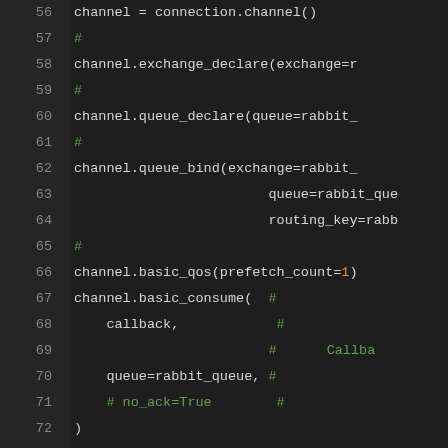[Figure (screenshot): Python source code editor showing lines 56–75 of a RabbitMQ consumer script with line numbers on dark background. Lines include channel setup, exchange/queue declaration, queue binding, basic_qos, basic_consume with callback, and logger.info call.]